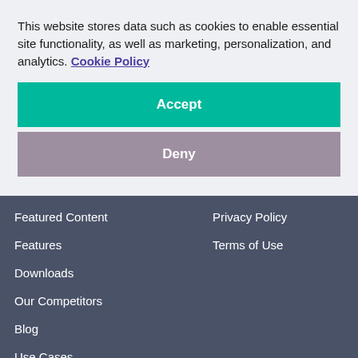This website stores data such as cookies to enable essential site functionality, as well as marketing, personalization, and analytics. Cookie Policy
Accept
Deny
Featured Content
Privacy Policy
Features
Terms of Use
Downloads
Our Competitors
Blog
Use Cases
Store